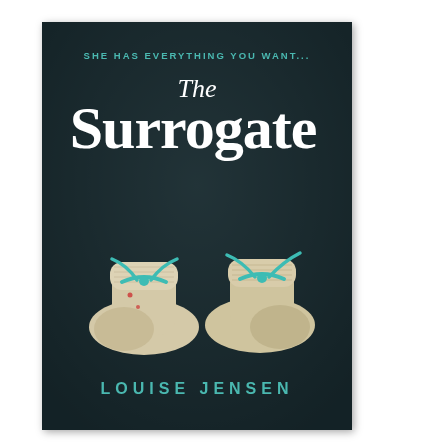[Figure (illustration): Book cover for 'The Surrogate' by Louise Jensen. Dark teal/charcoal background with two cream knitted baby booties tied with teal ribbons in the center. Text at top reads 'SHE HAS EVERYTHING YOU WANT...' in teal uppercase letters. Large white serif title 'The Surrogate' with 'The' in italic above 'Surrogate' in bold. Author name 'LOUISE JENSEN' in teal uppercase letters at the bottom.]